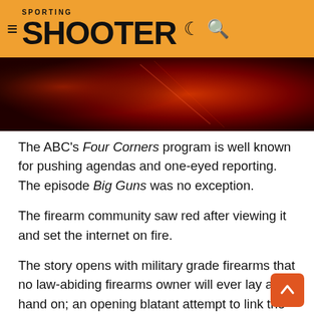SPORTING SHOOTER
[Figure (photo): Red-toned photograph, likely showing firearms or related imagery with dark red background]
The ABC's Four Corners program is well known for pushing agendas and one-eyed reporting. The episode Big Guns was no exception.
The firearm community saw red after viewing it and set the internet on fire.
The story opens with military grade firearms that no law-abiding firearms owner will ever lay a hand on; an opening blatant attempt to link the military firearms and weapons industry to Australian firearm users.